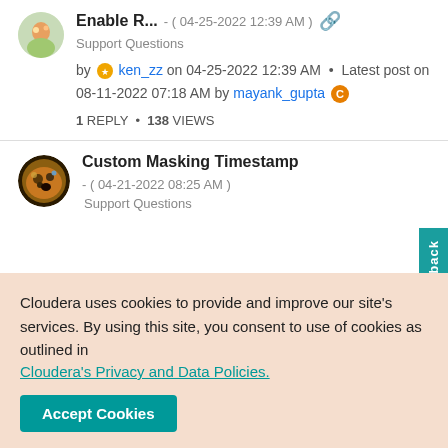Enable R... - ( 04-25-2022 12:39 AM ) [link icon]
Support Questions
by ken_zz on 04-25-2022 12:39 AM • Latest post on 08-11-2022 07:18 AM by mayank_gupta
1 REPLY • 138 VIEWS
Custom Masking Timestamp - ( 04-21-2022 08:25 AM )
Support Questions
Cloudera uses cookies to provide and improve our site's services. By using this site, you consent to use of cookies as outlined in Cloudera's Privacy and Data Policies.
Accept Cookies